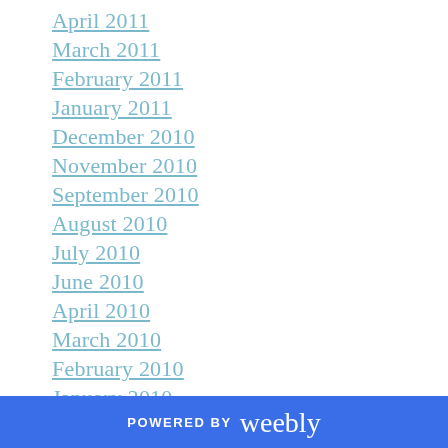April 2011
March 2011
February 2011
January 2011
December 2010
November 2010
September 2010
August 2010
July 2010
June 2010
April 2010
March 2010
February 2010
January 2010
December 2009
November 2009
October 2009
POWERED BY weebly